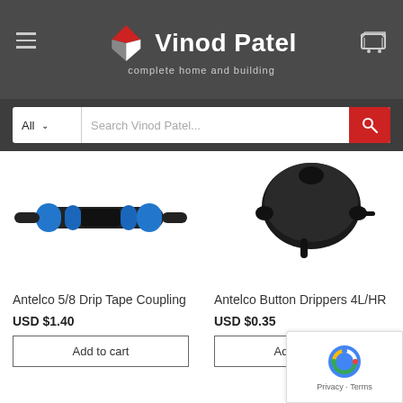Vinod Patel – complete home and building
[Figure (screenshot): Vinod Patel e-commerce website header with logo and search bar]
[Figure (photo): Antelco 5/8 Drip Tape Coupling product image – blue and black connector fitting]
Antelco 5/8 Drip Tape Coupling
USD $1.40
Add to cart
[Figure (photo): Antelco Button Drippers 4L/HR product image – black dripper fitting]
Antelco Button Drippers 4L/HR
USD $0.35
Add to cart